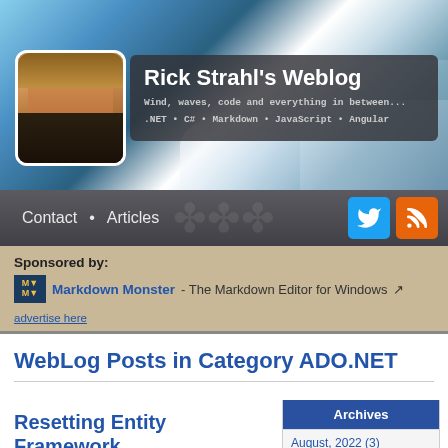[Figure (photo): Header banner with water sports action photo background, avatar of Rick Strahl, site title 'Rick Strahl's Weblog' with subtitle text about .NET C# Markdown JavaScript Angular]
Rick Strahl's Weblog
Wind, waves, code and everything in between...
.NET • C# • Markdown • JavaScript • Angular
Contact • Articles
Sponsored by:
Markdown Monster - The Markdown Editor for Windows
advertise here
WebLog Posts in Category ADO.NET
Resetting Entity Framework
Archives
August, 2022 (3)